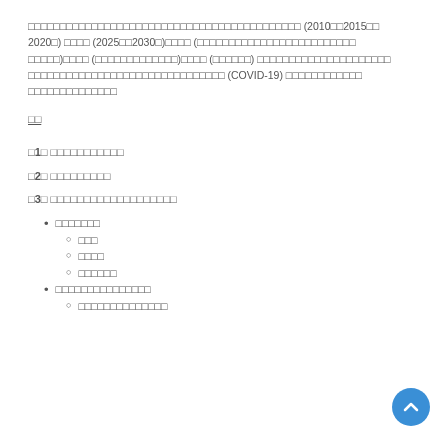□□□□□□□□□□□□□□□□□□□□□□□□□□□□□□□□□□□□□□□□□□□ (2010□□2015□□2020□) □□□□ (2025□□2030□)□□□□ (□□□□□□□□□□□□□□□□□□□□□□□□□)□□□□ (□□□□□□□□□□□□□)□□□□ (□□□□□□) □□□□□□□□□□□□□□□□□□□□□□□□□□□□□□□□□□□□□□□□ (COVID-19) □□□□□□□□□□□□□□□□□□□□□□
□□
□1□ □□□□□□□□□□□
□2□ □□□□□□□□□
□3□ □□□□□□□□□□□□□□□□□□□
• □□□□□□□
○ □□□
○ □□□□
○ □□□□□□
• □□□□□□□□□□□□□□□
○ □□□□□□□□□□□□□□